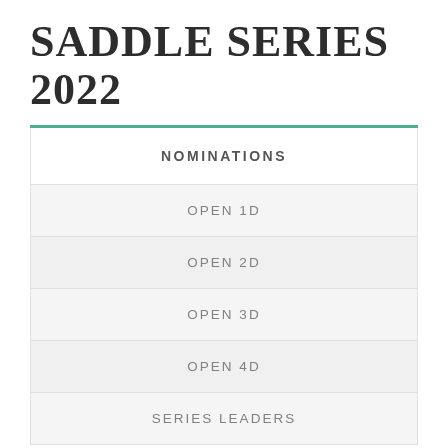SADDLE SERIES 2022
| NOMINATIONS |
| OPEN 1D |
| OPEN 2D |
| OPEN 3D |
| OPEN 4D |
| SERIES LEADERS |